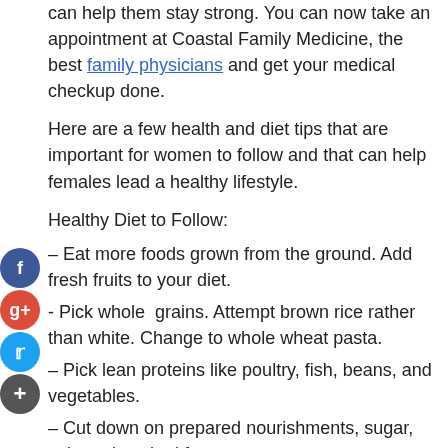can help them stay strong. You can now take an appointment at Coastal Family Medicine, the best family physicians and get your medical checkup done.
Here are a few health and diet tips that are important for women to follow and that can help females lead a healthy lifestyle.
Healthy Diet to Follow:
– Eat more foods grown from the ground. Add fresh fruits to your diet.
- Pick whole grains. Attempt brown rice rather than white. Change to whole wheat pasta.
– Pick lean proteins like poultry, fish, beans, and vegetables.
– Cut down on prepared nourishments, sugar, salt, and soaked fat.
Exercise to Follow:
– Focus on 2 and a half long periods of moderate action, as